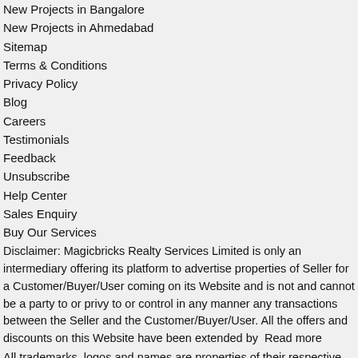New Projects in Bangalore
New Projects in Ahmedabad
Sitemap
Terms & Conditions
Privacy Policy
Blog
Careers
Testimonials
Feedback
Unsubscribe
Help Center
Sales Enquiry
Buy Our Services
Disclaimer: Magicbricks Realty Services Limited is only an intermediary offering its platform to advertise properties of Seller for a Customer/Buyer/User coming on its Website and is not and cannot be a party to or privy to or control in any manner any transactions between the Seller and the Customer/Buyer/User. All the offers and discounts on this Website have been extended by  Read more
All trademarks, logos and names are properties of their respective owners. All Rights Reserved. © Copyright 2022 Magicbricks Realty Services Limited.